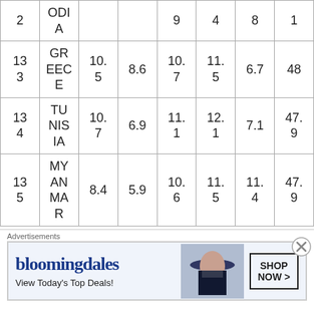| # | Country | Col3 | Col4 | Col5 | Col6 | Col7 | Col8 |
| --- | --- | --- | --- | --- | --- | --- | --- |
| 2 | ODIA |  |  | 9 | 4 | 8 | 1 |
| 133 | GREECE | 10.5 | 8.6 | 10.7 | 11.5 | 6.7 | 48 |
| 134 | TUNISIA | 10.7 | 6.9 | 11.1 | 12.1 | 7.1 | 47.9 |
| 135 | MYANMAR | 8.4 | 5.9 | 10.6 | 11.5 | 11.4 | 47.9 |
[Figure (other): Bloomingdale's advertisement banner: 'View Today's Top Deals!' with SHOP NOW > button and woman in hat image]